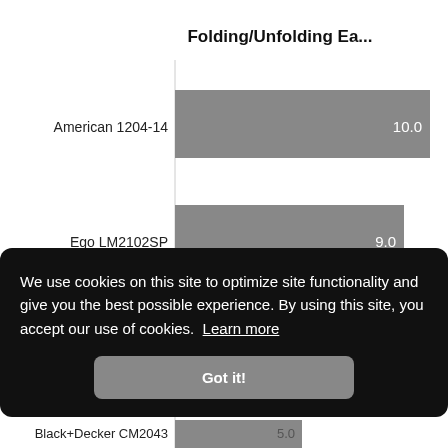[Figure (bar-chart): Folding/Unfolding Ea...]
We use cookies on this site to optimize site functionality and give you the best possible experience. By using this site, you accept our use of cookies. Learn more